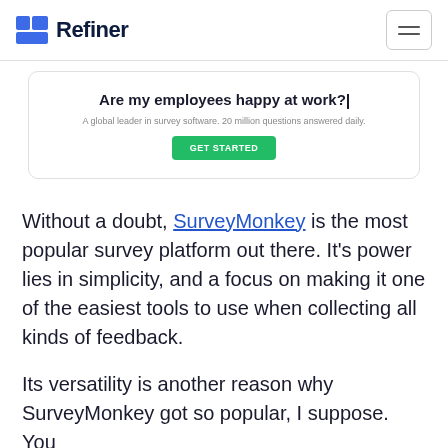Refiner
[Figure (screenshot): Advertisement card showing SurveyMonkey with text 'Are my employees happy at work?', subtitle 'A global leader in survey software. 20 million questions answered daily.', and a green 'Get Started' button.]
Without a doubt, SurveyMonkey is the most popular survey platform out there. It's power lies in simplicity, and a focus on making it one of the easiest tools to use when collecting all kinds of feedback.
Its versatility is another reason why SurveyMonkey got so popular, I suppose. You